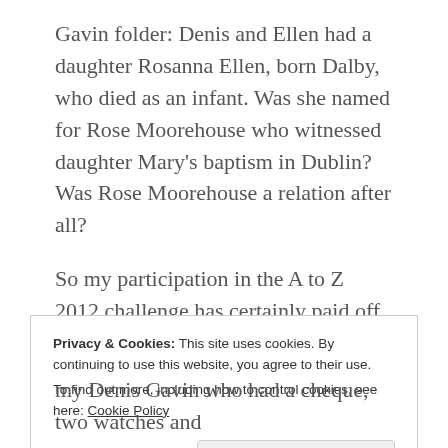Gavin folder: Denis and Ellen had a daughter Rosanna Ellen, born Dalby, who died as an infant. Was she named for Rose Moorehouse who witnessed daughter Mary's baptism in Dublin? Was Rose Moorehouse a relation after all?
So my participation in the A to Z 2012 challenge has certainly paid off for my family history offering new research paths and giving me a gold-plated “hit”… after 25 years of searching. You can see why I was rendered speechless at least temporarily....I think I
Privacy & Cookies: This site uses cookies. By continuing to use this website, you agree to their use.
To find out more, including how to control cookies, see here: Cookie Policy
Close and accept
my Denis Gavin who had a cheque, two watches and